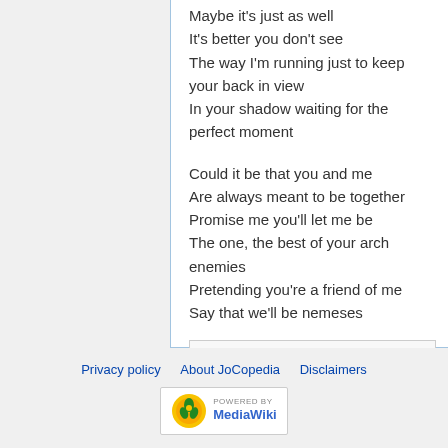Maybe it's just as well
It's better you don't see
The way I'm running just to keep your back in view
In your shadow waiting for the perfect moment
Could it be that you and me
Are always meant to be together
Promise me you'll let me be
The one, the best of your arch enemies
Pretending you're a friend of me
Say that we'll be nemeses
Category: Lyrics
Privacy policy  About JoCopedia  Disclaimers